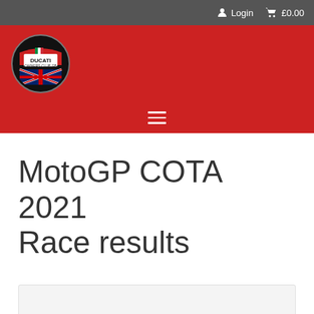Login  £0.00
[Figure (logo): Ducati Owners Club GB circular logo with Italian and British flags]
MotoGP COTA 2021 Race results
[Figure (other): Embedded content box (light grey placeholder area)]